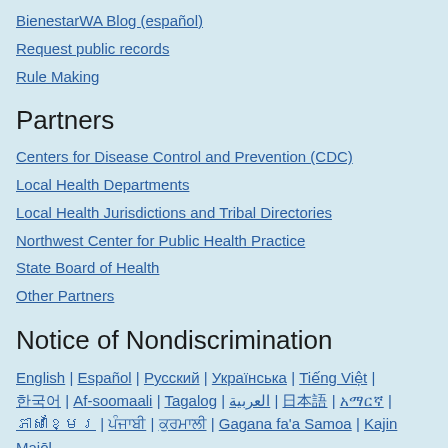BienestarWA Blog (español)
Request public records
Rule Making
Partners
Centers for Disease Control and Prevention (CDC)
Local Health Departments
Local Health Jurisdictions and Tribal Directories
Northwest Center for Public Health Practice
State Board of Health
Other Partners
Notice of Nondiscrimination
English | Español | Русский | Українська | Tiếng Việt | 한국어 | Af-soomaali | Tagalog | العربية | 日本語 | አማርኛ | ភាសាខ្មែរ | ਪੰਜਾਬੀ | ਕੁਰਮਾਲੀ | Gagana fa'a Samoa | Kajin Majōl